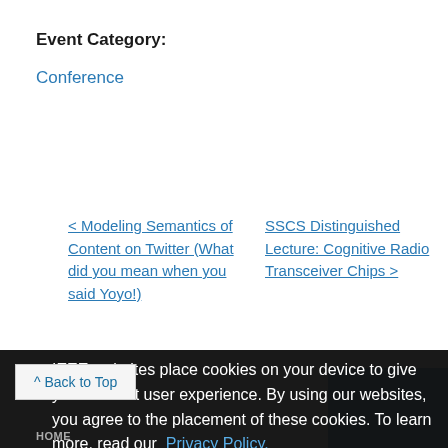Event Category:
Conference
< Modeling Semantics of Content on Twitter (What did you mean when you said Yoyo!)
SSCS Distinguished Lecture: Cognitive Radio Transceiver Chips >
IEEE websites place cookies on your device to give you the best user experience. By using our websites, you agree to the placement of these cookies. To learn more, read our  Privacy Policy.
Accept & Close
^ Back to Top
HOME